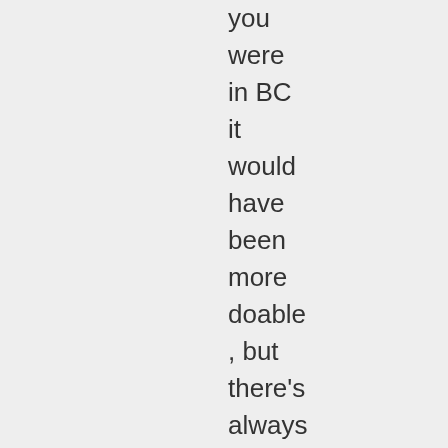you were in BC it would have been more doable , but there's always the possibility we'll